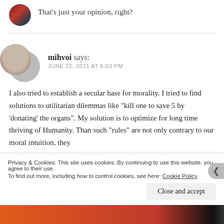That’s just your opinion, right?
mihvoi says:
JUNE 22, 2021 AT 6:03 PM
I also tried to establish a secular base for morality. I tried to find solutions to utilitarian dilemmas like “kill one to save 5 by ‘donating’ the organs”. My solution is to optimize for long time thriving of Humanity. Than such “rules” are not only contrary to our moral intuition, they
Privacy & Cookies: This site uses cookies. By continuing to use this website, you agree to their use.
To find out more, including how to control cookies, see here: Cookie Policy
Close and accept